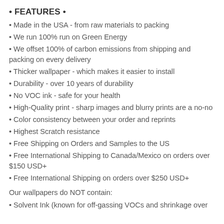• FEATURES •
Made in the USA - from raw materials to packing
We run 100% run on Green Energy
We offset 100% of carbon emissions from shipping and packing on every delivery
Thicker wallpaper - which makes it easier to install
Durability - over 10 years of durability
No VOC ink - safe for your health
High-Quality print - sharp images and blurry prints are a no-no
Color consistency between your order and reprints
Highest Scratch resistance
Free Shipping on Orders and Samples to the US
Free International Shipping to Canada/Mexico on orders over $150 USD+
Free International Shipping on orders over $250 USD+
Our wallpapers do NOT contain:
Solvent Ink (known for off-gassing VOCs and shrinkage over